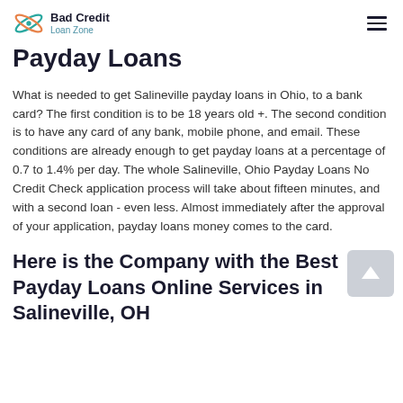Bad Credit Loan Zone
Payday Loans
What is needed to get Salineville payday loans in Ohio, to a bank card? The first condition is to be 18 years old +. The second condition is to have any card of any bank, mobile phone, and email. These conditions are already enough to get payday loans at a percentage of 0.7 to 1.4% per day. The whole Salineville, Ohio Payday Loans No Credit Check application process will take about fifteen minutes, and with a second loan - even less. Almost immediately after the approval of your application, payday loans money comes to the card.
Here is the Company with the Best Payday Loans Online Services in Salineville, OH